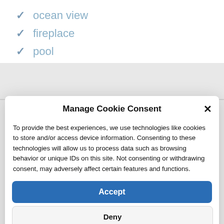✓ ocean view
✓ fireplace
✓ pool
Manage Cookie Consent
To provide the best experiences, we use technologies like cookies to store and/or access device information. Consenting to these technologies will allow us to process data such as browsing behavior or unique IDs on this site. Not consenting or withdrawing consent, may adversely affect certain features and functions.
Accept
Deny
View preferences